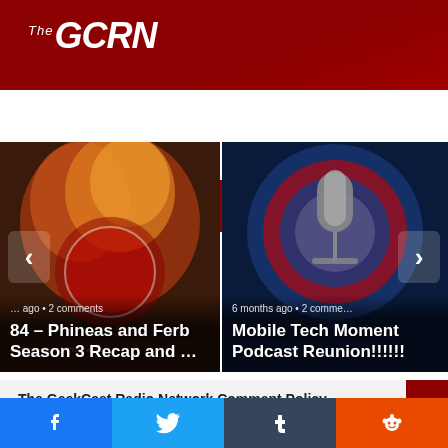[Figure (logo): The GCRN (GeekCast Radio Network) logo in white text on dark red background]
[Figure (screenshot): Website navigation bar with hamburger menu (three dots), moon icon, and search icon on dark red background]
[Figure (screenshot): Left carousel card: animated character with orange hair on red/brown background, text '84 – Phineas and Ferb Season 3 Recap and ...' with date metadata '...ago • 2 comments']
[Figure (screenshot): Right carousel card: microphone graphic on blue background, text 'Mobile Tech Moment Podcast Reunion!!!!!! 6 months ago • 2 comments']
The GeekCast Radio Network Comment Policy
[Figure (screenshot): Social sharing bar with Facebook, Twitter, Tumblr, and Reddit buttons at the bottom of the page]